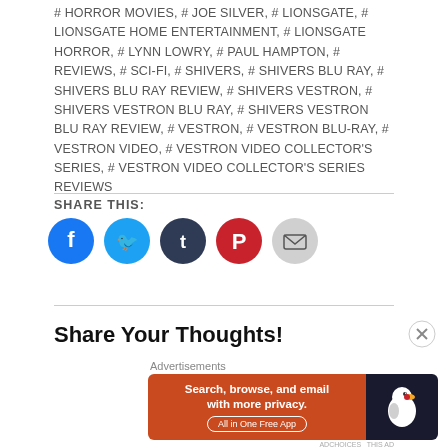# HORROR MOVIES, # JOE SILVER, # LIONSGATE, # LIONSGATE HOME ENTERTAINMENT, # LIONSGATE HORROR, # LYNN LOWRY, # PAUL HAMPTON, # REVIEWS, # SCI-FI, # SHIVERS, # SHIVERS BLU RAY, # SHIVERS BLU RAY REVIEW, # SHIVERS VESTRON, # SHIVERS VESTRON BLU RAY, # SHIVERS VESTRON BLU RAY REVIEW, # VESTRON, # VESTRON BLU-RAY, # VESTRON VIDEO, # VESTRON VIDEO COLLECTOR'S SERIES, # VESTRON VIDEO COLLECTOR'S SERIES REVIEWS
SHARE THIS:
[Figure (infographic): Five social share buttons: Facebook (blue circle), Twitter (light blue circle), Tumblr (dark blue circle), Pinterest (red circle), Email (light gray circle)]
Share Your Thoughts!
[Figure (infographic): DuckDuckGo advertisement banner: orange left panel with text 'Search, browse, and email with more privacy. All in One Free App', dark right panel with DuckDuckGo logo duck icon]
Advertisements